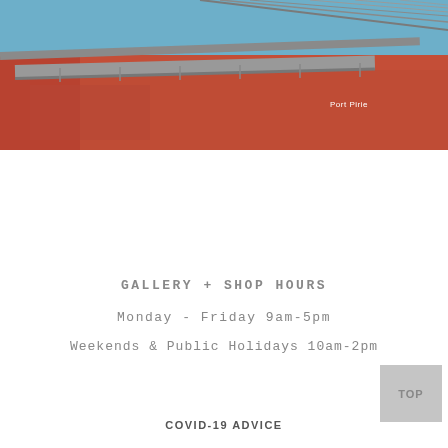[Figure (photo): Exterior photo of Port Pirie building/gallery with red-orange walls and metal roof overhang canopy against a blue sky. Text 'Port Pirie' visible on the wall.]
GALLERY + SHOP HOURS
Monday - Friday 9am-5pm
Weekends & Public Holidays 10am-2pm
COVID-19 ADVICE